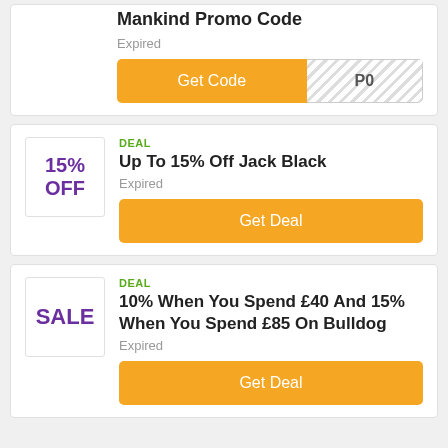Mankind Promo Code
Expired
[Figure (other): Orange 'Get Code' button with hatched reveal area showing 'P0']
DEAL
Up To 15% Off Jack Black
Expired
[Figure (other): Orange 'Get Deal' button]
DEAL
10% When You Spend £40 And 15% When You Spend £85 On Bulldog
Expired
[Figure (other): Orange 'Get Deal' button]